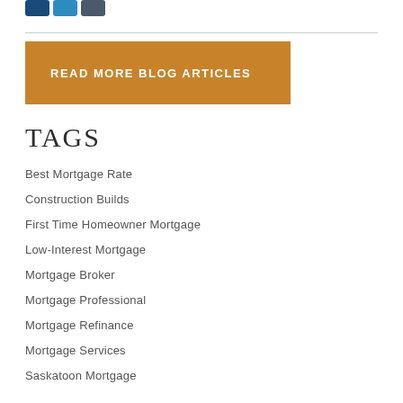[Figure (other): Social media icon buttons: dark blue (Facebook), light blue (Twitter), slate/grey (LinkedIn or similar)]
READ MORE BLOG ARTICLES
TAGS
Best Mortgage Rate
Construction Builds
First Time Homeowner Mortgage
Low-Interest Mortgage
Mortgage Broker
Mortgage Professional
Mortgage Refinance
Mortgage Services
Saskatoon Mortgage